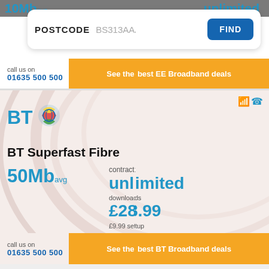10Mb avg
unlimited
[Figure (screenshot): Postcode search box with POSTCODE label, BS313AA value, and FIND button]
call us on
01635 500 500
See the best EE Broadband deals
[Figure (logo): BT logo with coloured sphere icon]
BT Superfast Fibre
50Mb avg
contract
unlimited
downloads
£28.99
£9.99 setup
call us on
01635 500 500
See the best BT Broadband deals